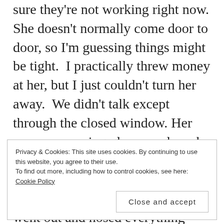sure they're not working right now. She doesn't normally come door to door, so I'm guessing things might be tight.  I practically threw money at her, but I just couldn't turn her away.  We didn't talk except through the closed window. Her son was wearing gloves and mask, she wasn't.  He usually goes along to interpret.  I told her to set the produce down and after awhile, I went out and hosed everything down just to be safe.  I felt badly that it had to be that way.  I don't think she was offended, after all I didn't just turn her away.
Privacy & Cookies: This site uses cookies. By continuing to use this website, you agree to their use. To find out more, including how to control cookies, see here: Cookie Policy
Close and accept